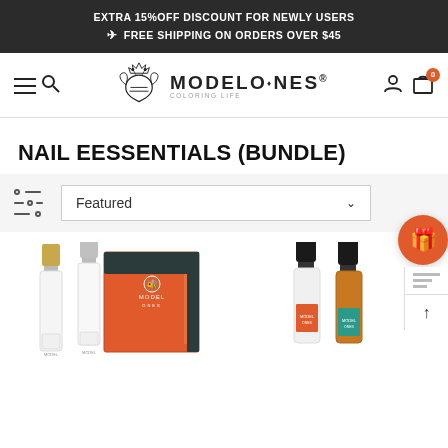EXTRA 15%OFF DISCOUNT FOR NEWLY USERS ✈ FREE SHIPPING ON ORDERS OVER $45
[Figure (logo): Modelones bee logo with crown and text MODELONES COLORING LIFE]
NAIL EESSENTIALS (BUNDLE)
[Figure (screenshot): Filter bar with sliders icon and Featured dropdown selector]
[Figure (photo): Two nail polish bottles with orange box product bundle on left side]
[Figure (photo): Two nail polish bottles (clear and amber/teal Modelones branded) on right side]